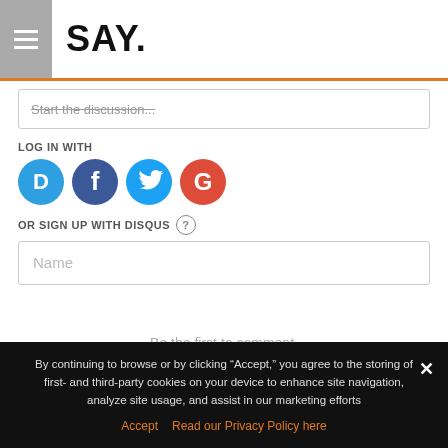SAY.
Start the discussion...
LOG IN WITH
[Figure (infographic): Four social login icons: Disqus (blue speech bubble with D), Facebook (dark blue circle with f), Twitter (light blue circle with bird), Google (red circle with G)]
OR SIGN UP WITH DISQUS ?
Name
Be the first to comment.
By continuing to browse or by clicking "Accept," you agree to the storing of first- and third-party cookies on your device to enhance site navigation, analyze site usage, and assist in our marketing efforts
Accept   Read our Privacy Policy here